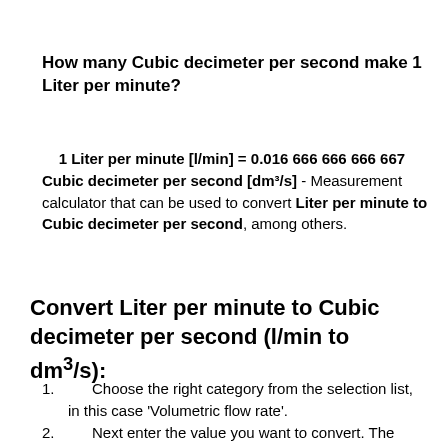How many Cubic decimeter per second make 1 Liter per minute?
1 Liter per minute [l/min] = 0.016 666 666 666 667 Cubic decimeter per second [dm³/s] - Measurement calculator that can be used to convert Liter per minute to Cubic decimeter per second, among others.
Convert Liter per minute to Cubic decimeter per second (l/min to dm³/s):
Choose the right category from the selection list, in this case 'Volumetric flow rate'.
Next enter the value you want to convert. The basic